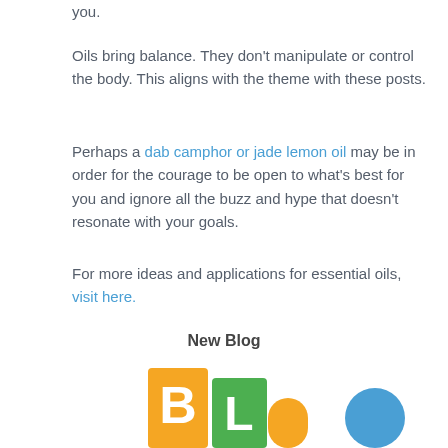you.
Oils bring balance. They don't manipulate or control the body. This aligns with the theme with these posts.
Perhaps a dab camphor or jade lemon oil may be in order for the courage to be open to what's best for you and ignore all the buzz and hype that doesn't resonate with your goals.
For more ideas and applications for essential oils, visit here.
New Blog
[Figure (illustration): Colorful block letters spelling 'BLOG' partially visible at the bottom of the page, with yellow, green, and blue colored letter blocks.]